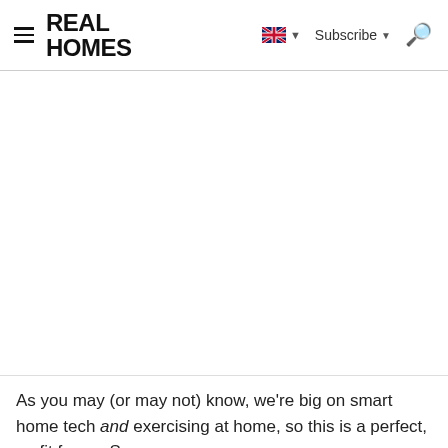REAL HOMES
[Figure (other): Large blank white content area, likely an image placeholder or advertisement area]
As you may (or may not) know, we're big on smart home tech and exercising at home, so this is a perfect, er, fit for us. So